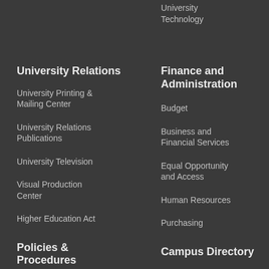University Technology
University Relations
University Printing & Mailing Center
University Relations Publications
University Television
Visual Production Center
Higher Education Act
Policies & Procedures
Finance and Administration
Budget
Business and Financial Services
Equal Opportunity and Access
Human Resources
Purchasing
Campus Directory